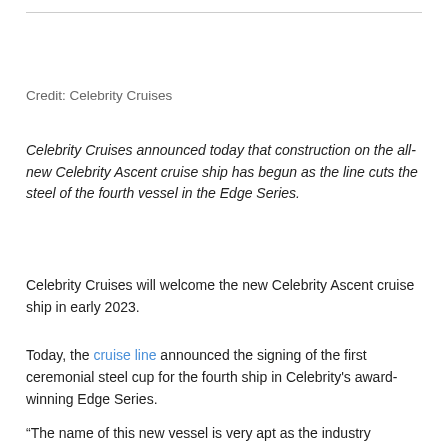Credit: Celebrity Cruises
Celebrity Cruises announced today that construction on the all-new Celebrity Ascent cruise ship has begun as the line cuts the steel of the fourth vessel in the Edge Series.
Celebrity Cruises will welcome the new Celebrity Ascent cruise ship in early 2023.
Today, the cruise line announced the signing of the first ceremonial steel cup for the fourth ship in Celebrity’s award-winning Edge Series.
“The name of this new vessel is very apt as the industry rebounds, but also as Celebrity continues to lead the industry as a